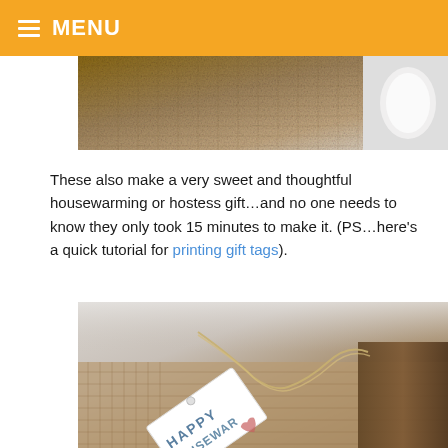MENU
[Figure (photo): Close-up photo of burlap fabric texture with a white cup visible at the right edge]
These also make a very sweet and thoughtful housewarming or hostess gift…and no one needs to know they only took 15 minutes to make it. (PS…here's a quick tutorial for printing gift tags).
[Figure (photo): Close-up photo of a gift tag reading 'HAPPY HOUSEWAR...' tied with twine to a burlap-wrapped item on a wooden surface]